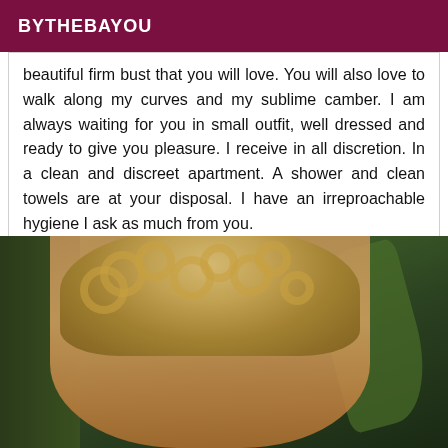BYTHEBAYOU
beautiful firm bust that you will love. You will also love to walk along my curves and my sublime camber. I am always waiting for you in small outfit, well dressed and ready to give you pleasure. I receive in all discretion. In a clean and discreet apartment. A shower and clean towels are at your disposal. I have an irreproachable hygiene I ask as much from you.
[Figure (photo): Photo of a woman with curly blonde hair, wearing makeup and a gold earring, looking downward, with green plant in background]